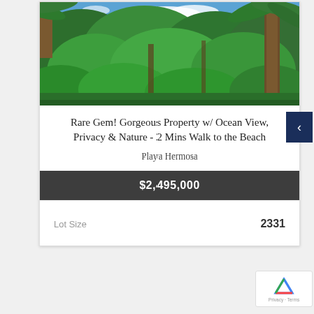[Figure (photo): Tropical jungle landscape with lush green trees and palm trees, with a glimpse of ocean and blue sky visible in the background]
Rare Gem! Gorgeous Property w/ Ocean View, Privacy & Nature - 2 Mins Walk to the Beach
Playa Hermosa
$2,495,000
| Lot Size | 2331 |
| --- | --- |